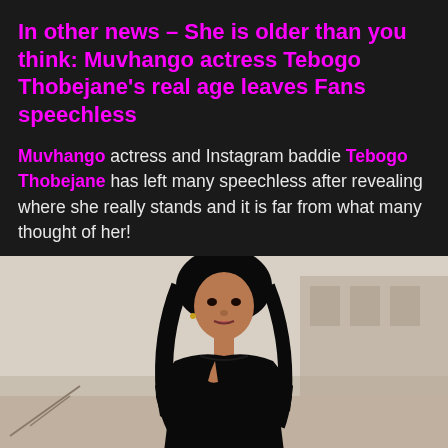In other news – She is older than you think: Muvhango actress Tebogo Thobejane's real age leaves Fans speechless
Muvhango actress and Instagram baddie Tebogo Thobejane has left many speechless after revealing where she really stands and it is far from what many thought of her!
[Figure (photo): Portrait photo of Tebogo Thobejane, a young Black woman with long black hair, wearing a black top, posing outdoors against a building background]